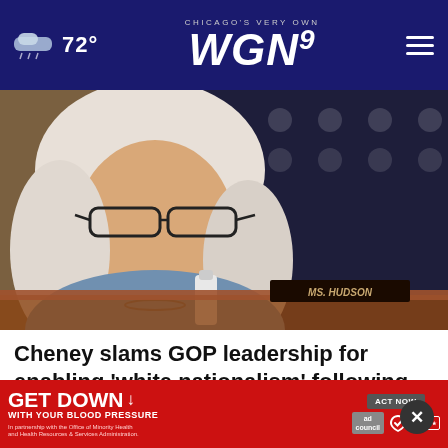CHICAGO'S VERY OWN WGN9 | 72°
[Figure (photo): Woman with blonde hair and glasses seated at a committee hearing desk with nameplate reading MS. HUDSON in the background]
Cheney slams GOP leadership for enabling 'white nationalism' following Buffalo shooting
[Figure (photo): Partial view of a second news image below the headline]
GET DOWN ↓ WITH YOUR BLOOD PRESSURE | In partnership with the Office of Minority Health and Health Resources & Services Administration. | ACT NOW | ad council | AMA